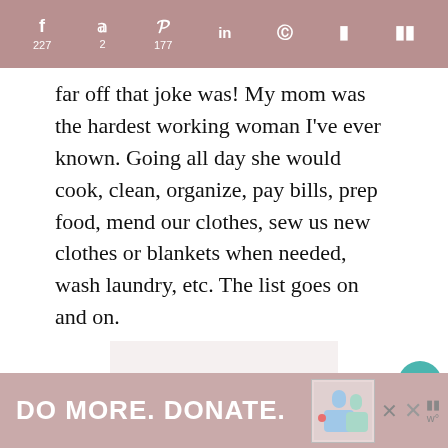f 227  y 2  p 177  in  reddit  F  m
far off that joke was! My mom was the hardest working woman I’ve ever known. Going all day she would cook, clean, organize, pay bills, prep food, mend our clothes, sew us new clothes or blankets when needed, wash laundry, etc. The list goes on and on.
[Figure (other): Image placeholder with three dot indicators below, shown on a light pinkish-grey background. Side buttons include a teal heart icon button, a count showing 408, and a share button.]
DO MORE. DONATE.